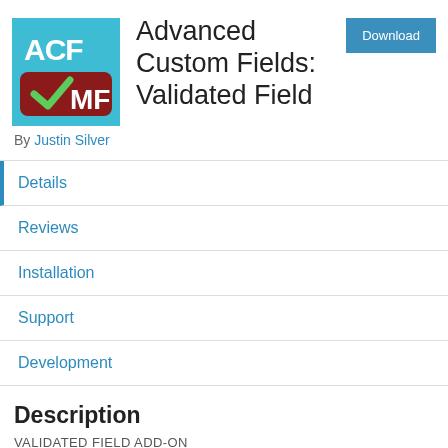[Figure (logo): ACF Validated Field plugin logo — teal background with white text 'ACF' and a dark red rounded rectangle containing a green checkmark and white text 'MF']
Advanced Custom Fields: Validated Field
By Justin Silver
Download
Details
Reviews
Installation
Support
Development
Description
VALIDATED FIELD ADD-ON